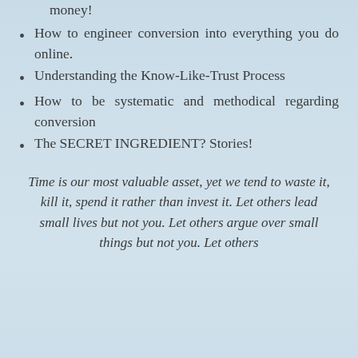money!
How to engineer conversion into everything you do online.
Understanding the Know-Like-Trust Process
How to be systematic and methodical regarding conversion
The SECRET INGREDIENT? Stories!
Time is our most valuable asset, yet we tend to waste it, kill it, spend it rather than invest it. Let others lead small lives but not you. Let others argue over small things but not you. Let others